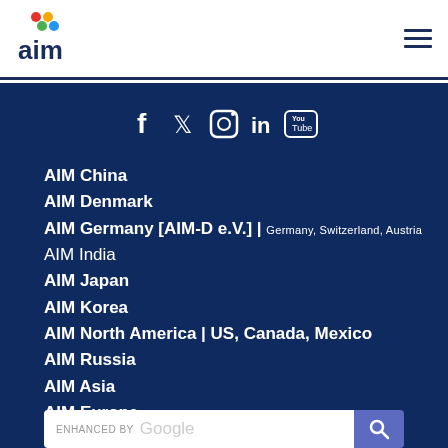[Figure (logo): AIM logo with colored dots above letters]
[Figure (other): Hamburger menu icon (three horizontal lines)]
[Figure (other): Social media icons: Facebook, Twitter, Instagram, LinkedIn, YouTube]
AIM China
AIM Denmark
AIM Germany [AIM-D e.V.] | Germany, Switzerland, Austria
AIM India
AIM Japan
AIM Korea
AIM North America | US, Canada, Mexico
AIM Russia
AIM Asia
AIM Europe
[Figure (other): Enhanced by Google search bar with search button]